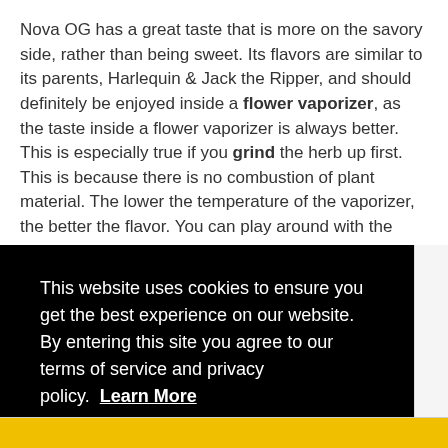Nova OG has a great taste that is more on the savory side, rather than being sweet. Its flavors are similar to its parents, Harlequin & Jack the Ripper, and should definitely be enjoyed inside a flower vaporizer, as the taste inside a flower vaporizer is always better. This is especially true if you grind the herb up first. This is because there is no combustion of plant material. The lower the temperature of the vaporizer, the better the flavor. You can play around with the temps until you find the perfect balance between flavor and potency.
This website uses cookies to ensure you get the best experience on our website. By entering this site you agree to our terms of service and privacy policy. Learn More
Accept